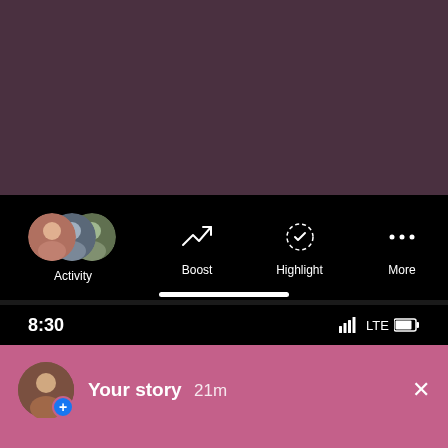[Figure (screenshot): Top half: Instagram-like mobile app screenshot showing a dark purple story/post background with a black action bar below. The action bar shows three profile avatars labeled 'Activity', and icons for 'Boost', 'Highlight', and 'More'. A white home indicator bar is at the bottom.]
Activity
Boost
Highlight
More
[Figure (screenshot): Bottom half: Mobile app screenshot showing status bar with time '8:30' and signal/LTE/battery indicators. Below is a pink notification area with dashed line at top showing 'Your story 21m' with a profile avatar and a close (X) button.]
8:30
LTE
Your story 21m